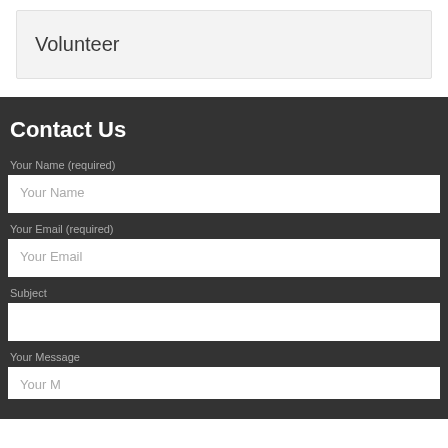Volunteer
Contact Us
Your Name (required)
Your Name
Your Email (required)
Your Email
Subject
Your Message